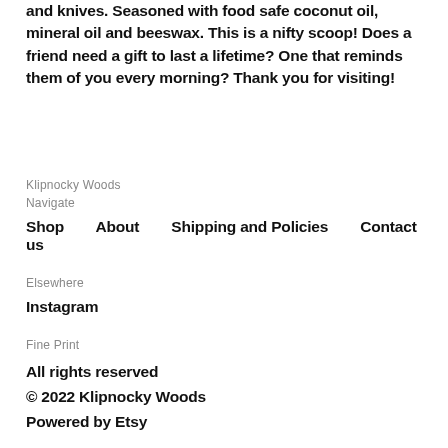and knives. Seasoned with food safe coconut oil, mineral oil and beeswax. This is a nifty scoop! Does a friend need a gift to last a lifetime? One that reminds them of you every morning? Thank you for visiting!
Klipnocky Woods
Navigate
Shop    About    Shipping and Policies    Contact us
Elsewhere
Instagram
Fine Print
All rights reserved
© 2022 Klipnocky Woods
Powered by Etsy